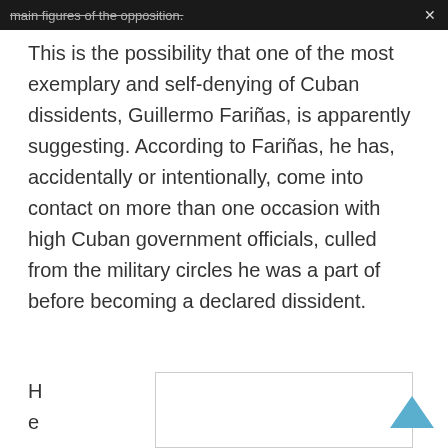main figures of the opposition.
This is the possibility that one of the most exemplary and self-denying of Cuban dissidents, Guillermo Fariñas, is apparently suggesting. According to Fariñas, he has, accidentally or intentionally, come into contact on more than one occasion with high Cuban government officials, culled from the military circles he was a part of before becoming a declared dissident.
He